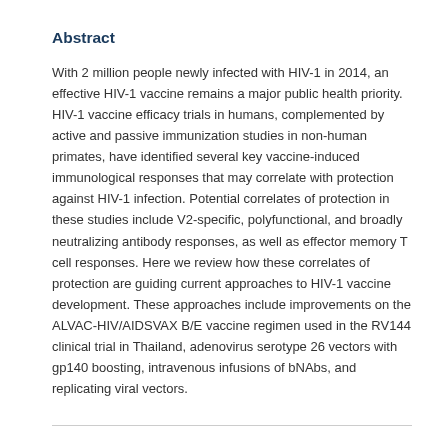Abstract
With 2 million people newly infected with HIV-1 in 2014, an effective HIV-1 vaccine remains a major public health priority. HIV-1 vaccine efficacy trials in humans, complemented by active and passive immunization studies in non-human primates, have identified several key vaccine-induced immunological responses that may correlate with protection against HIV-1 infection. Potential correlates of protection in these studies include V2-specific, polyfunctional, and broadly neutralizing antibody responses, as well as effector memory T cell responses. Here we review how these correlates of protection are guiding current approaches to HIV-1 vaccine development. These approaches include improvements on the ALVAC-HIV/AIDSVAX B/E vaccine regimen used in the RV144 clinical trial in Thailand, adenovirus serotype 26 vectors with gp140 boosting, intravenous infusions of bNAbs, and replicating viral vectors.